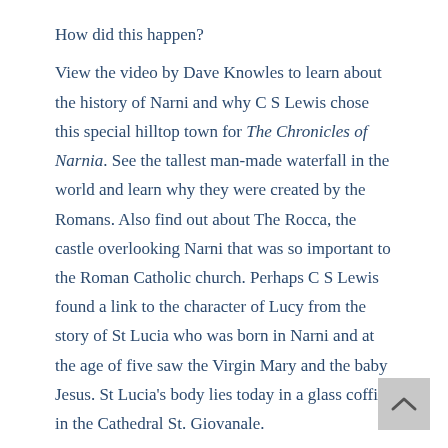How did this happen?
View the video by Dave Knowles to learn about the history of Narni and why C S Lewis chose this special hilltop town for The Chronicles of Narnia. See the tallest man-made waterfall in the world and learn why they were created by the Romans. Also find out about The Rocca, the castle overlooking Narni that was so important to the Roman Catholic church. Perhaps C S Lewis found a link to the character of Lucy from the story of St Lucia who was born in Narni and at the age of five saw the Virgin Mary and the baby Jesus. St Lucia’s body lies today in a glass coffin in the Cathedral St. Giovanale.